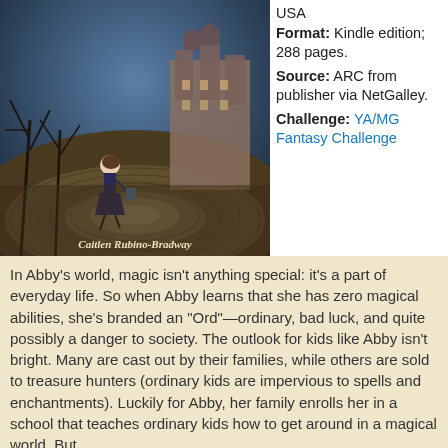[Figure (photo): Book cover for a novel by Caitlen Rubino-Bradway, published by Bloomsbury. Shows a girl in a dark dress walking on a swirling path with bare trees and a large Victorian building in the background.]
USA
Format: Kindle edition; 288 pages.
Source: ARC from publisher via NetGalley.
Challenge: YA/MG Fantasy Challenge
In Abby's world, magic isn't anything special: it's a part of everyday life. So when Abby learns that she has zero magical abilities, she's branded an "Ord"—ordinary, bad luck, and quite possibly a danger to society. The outlook for kids like Abby isn't bright. Many are cast out by their families, while others are sold to treasure hunters (ordinary kids are impervious to spells and enchantments). Luckily for Abby, her family enrolls her in a school that teaches ordinary kids how to get around in a magical world. But